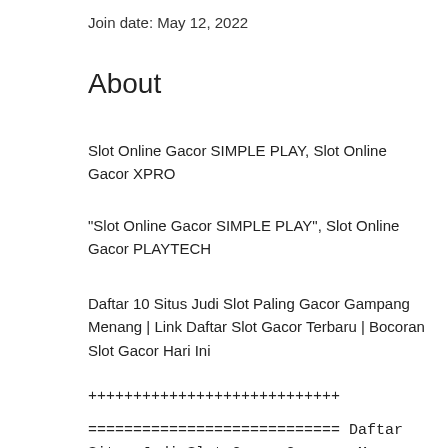Join date: May 12, 2022
About
Slot Online Gacor SIMPLE PLAY, Slot Online Gacor XPRO
"Slot Online Gacor SIMPLE PLAY", Slot Online Gacor PLAYTECH
Daftar 10 Situs Judi Slot Paling Gacor Gampang Menang | Link Daftar Slot Gacor Terbaru | Bocoran Slot Gacor Hari Ini
++++++++++++++++++++++++++++
============================ Daftar Situs Judi Slot Gacor Gampang Menang 2022
Situs Judi Online Terlengkap ::